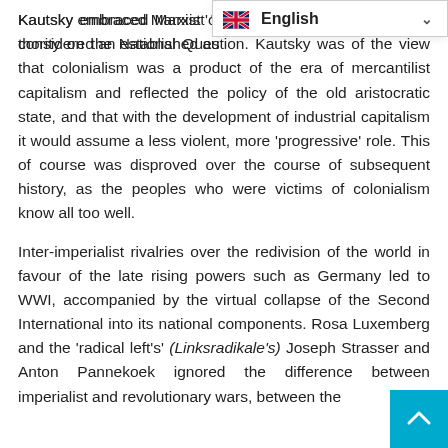Kautsky embraced Marxist 'orthodoxy' and was considered an established authority on the National Question. Kautsky was of the view that colonialism was a product of the era of mercantilist capitalism and reflected the policy of the old aristocratic state, and that with the development of industrial capitalism it would assume a less violent, more 'progressive' role. This of course was disproved over the course of subsequent history, as the peoples who were victims of colonialism know all too well.
Inter-imperialist rivalries over the redivision of the world in favour of the late rising powers such as Germany led to WWI, accompanied by the virtual collapse of the Second International into its national components. Rosa Luxemberg and the 'radical left's' (Linksradikale's) Joseph Strasser and Anton Pannekoek ignored the difference between imperialist and revolutionary wars, between the